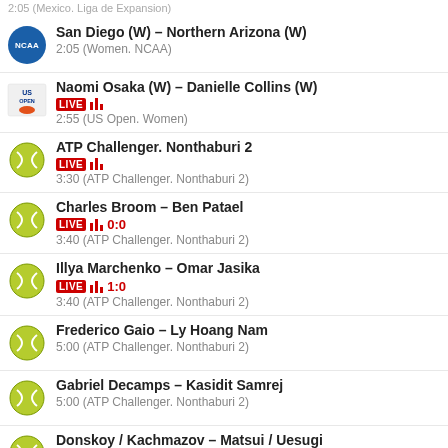2:05 (Mexico. Liga de Expansion)
San Diego (W) – Northern Arizona (W)
2:05 (Women. NCAA)
Naomi Osaka (W) – Danielle Collins (W)
LIVE 2:55 (US Open. Women)
ATP Challenger. Nonthaburi 2
LIVE 3:30 (ATP Challenger. Nonthaburi 2)
Charles Broom – Ben Patael
LIVE 0:0 3:40 (ATP Challenger. Nonthaburi 2)
Illya Marchenko – Omar Jasika
LIVE 1:0 3:40 (ATP Challenger. Nonthaburi 2)
Frederico Gaio – Ly Hoang Nam
5:00 (ATP Challenger. Nonthaburi 2)
Gabriel Decamps – Kasidit Samrej
5:00 (ATP Challenger. Nonthaburi 2)
Donskoy / Kachmazov – Matsui / Uesugi
5:30 (Doubles)
Sweeny / Schoolkate – Shimabukuro / Watanabe
5:30 (Doubles)
Slovenia – Israel
7:00 (European Championship)